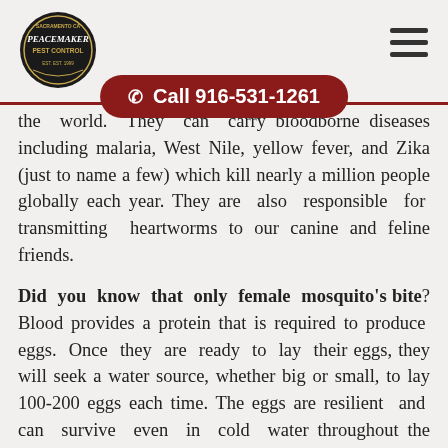[Figure (logo): Peacemaker Pest Control circular logo in dark oval shape with ornate lettering]
Call 916-531-1261
the world. They can carry bloodborne diseases including malaria, West Nile, yellow fever, and Zika (just to name a few) which kill nearly a million people globally each year. They are also responsible for transmitting heartworms to our canine and feline friends.
Did you know that only female mosquito's bite? Blood provides a protein that is required to produce eggs. Once they are ready to lay their eggs, they will seek a water source, whether big or small, to lay 100-200 eggs each time. The eggs are resilient and can survive even in cold water throughout the winter season, hatching as warm weather approaches.
We may think these gnats seem quite pointless